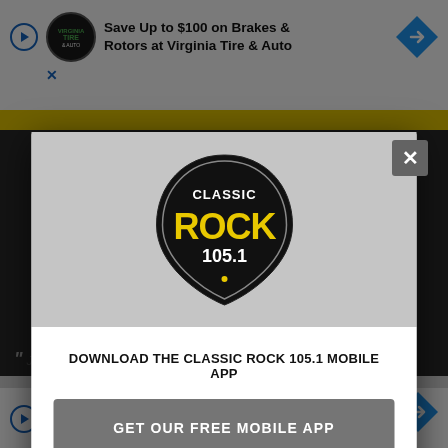[Figure (screenshot): Screenshot of a mobile web browser showing a popup/modal overlay for Classic Rock 105.1 radio station mobile app download prompt. Background shows an advertisement for Virginia Tire & Auto brake service. The modal contains the Classic Rock 105.1 guitar pick logo, a call to action to download the mobile app, a gray button reading GET OUR FREE MOBILE APP, and an Amazon Alexa listen option. Bottom of screen shows another ad for Virginia Tire & Auto and italic body text.]